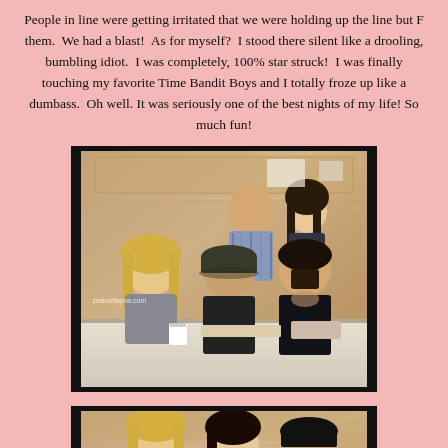People in line were getting irritated that we were holding up the line but F them.  We had a blast!  As for myself?  I stood there silent like a drooling, bumbling idiot.  I was completely, 100% star struck!  I was finally touching my favorite Time Bandit Boys and I totally froze up like a dumbass.  Oh well. It was seriously one of the best nights of my life! So much fun!
[Figure (photo): Group photo of five people at what appears to be a fan meet-and-greet or signing event. Three men and one woman are seated/posed at a table. One man stands in the back. A watermark reads 'peanutlayna.com'. Background shows marble-like wall paneling.]
[Figure (photo): Second photo showing a closer view of some of the same people from the group photo above, partially visible at bottom of page.]